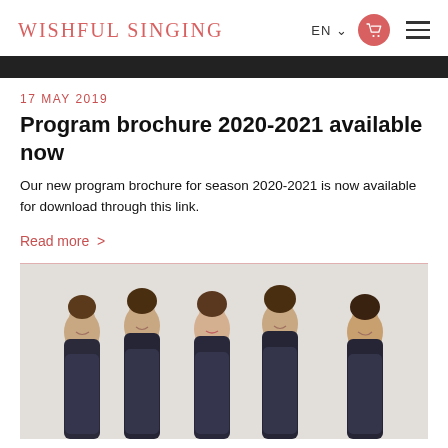WISHFUL SINGING
17 MAY 2019
Program brochure 2020-2021 available now
Our new program brochure for season 2020-2021 is now available for download through this link.
Read more >
[Figure (photo): Five women in dark sparkly dresses arranged in a row, smiling and interacting with each other, photographed against a light background.]